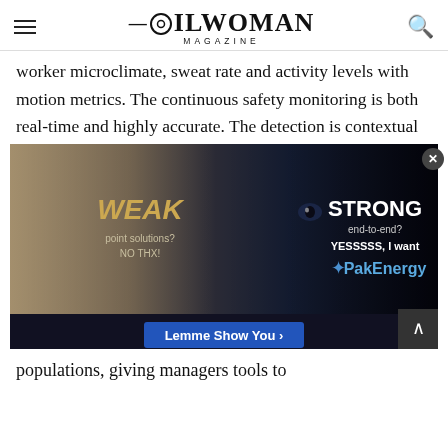OILWOMAN MAGAZINE
worker microclimate, sweat rate and activity levels with motion metrics. The continuous safety monitoring is both real-time and highly accurate. The detection is contextual
[Figure (illustration): Advertisement for PakEnergy showing a split image of a white rabbit (weak) and a blue-lit wolf (strong). Left side text: 'WEAK point solutions? NO THX!' Right side text: 'STRONG end-to-end? YESSSSS, I want' with PakEnergy logo. Blue 'Lemme Show You >' button at bottom.]
populations, giving managers tools to